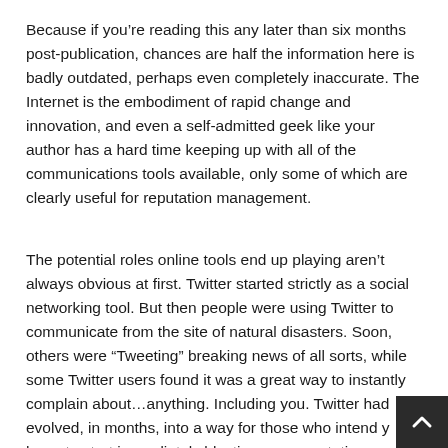Because if you're reading this any later than six months post-publication, chances are half the information here is badly outdated, perhaps even completely inaccurate. The Internet is the embodiment of rapid change and innovation, and even a self-admitted geek like your author has a hard time keeping up with all of the communications tools available, only some of which are clearly useful for reputation management.
The potential roles online tools end up playing aren't always obvious at first. Twitter started strictly as a social networking tool. But then people were using Twitter to communicate from the site of natural disasters. Soon, others were “Tweeting” breaking news of all sorts, while some Twitter users found it was a great way to instantly complain about…anything. Including you. Twitter had evolved, in months, into a way for those who intend y harm to start immediately blasting your reputation.